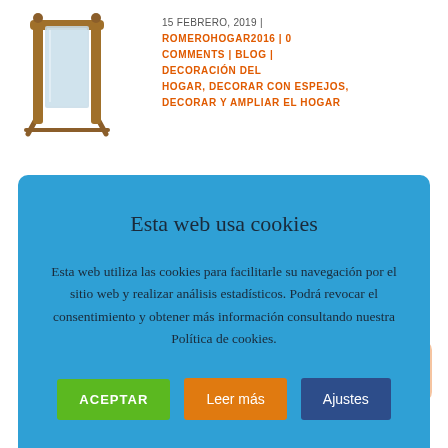[Figure (photo): Wooden floor-standing cheval mirror with ornate frame on stand]
15 FEBRERO, 2019 | ROMEROHOGAR2016 | 0 COMMENTS | BLOG | DECORACIÓN DEL HOGAR, DECORAR CON ESPEJOS, DECORAR Y AMPLIAR EL HOGAR
Esta web usa cookies
Esta web utiliza las cookies para facilitarle su navegación por el sitio web y realizar análisis estadísticos. Podrá revocar el consentimiento y obtener más información consultando nuestra Política de cookies.
ACEPTAR | Leer más | Ajustes
[Figure (photo): Decorative golden sunburst mirrors at bottom of page]